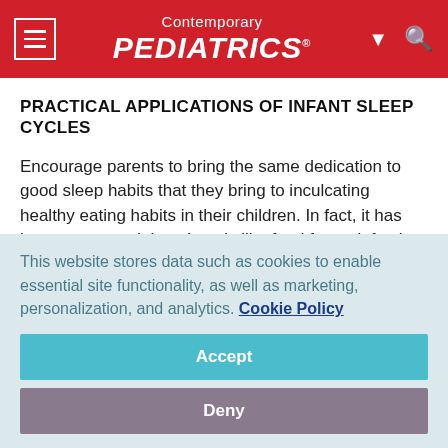Contemporary PEDIATRICS
PRACTICAL APPLICATIONS OF INFANT SLEEP CYCLES
Encourage parents to bring the same dedication to good sleep habits that they bring to inculcating healthy eating habits in their children. In fact, it has been suggested that sleep is like food for an infant's brain. Just as infants need frequent feedings, they need frequent naps.
This website stores data such as cookies to enable essential site functionality, as well as marketing, personalization, and analytics. Cookie Policy
Accept
Deny